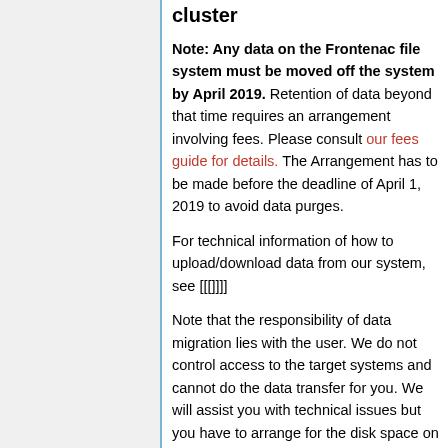cluster
Note: Any data on the Frontenac file system must be moved off the system by April 2019. Retention of data beyond that time requires an arrangement involving fees. Please consult our fees guide for details. The Arrangement has to be made before the deadline of April 1, 2019 to avoid data purges.
For technical information of how to upload/download data from our system, see [[[]]]]
Note that the responsibility of data migration lies with the user. We do not control access to the target systems and cannot do the data transfer for you. We will assist you with technical issues but you have to arrange for the disk space on the target system.